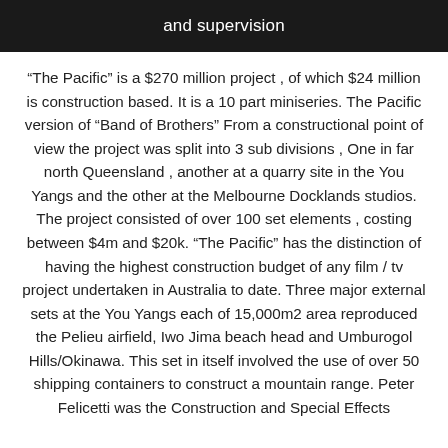and supervision
“The Pacific” is a $270 million project , of which $24 million is construction based. It is a 10 part miniseries. The Pacific version of “Band of Brothers” From a constructional point of view the project was split into 3 sub divisions , One in far north Queensland , another at a quarry site in the You Yangs and the other at the Melbourne Docklands studios. The project consisted of over 100 set elements , costing between $4m and $20k. “The Pacific” has the distinction of having the highest construction budget of any film / tv project undertaken in Australia to date. Three major external sets at the You Yangs each of 15,000m2 area reproduced the Pelieu airfield, Iwo Jima beach head and Umburogol Hills/Okinawa. This set in itself involved the use of over 50 shipping containers to construct a mountain range. Peter Felicetti was the Construction and Special Effects